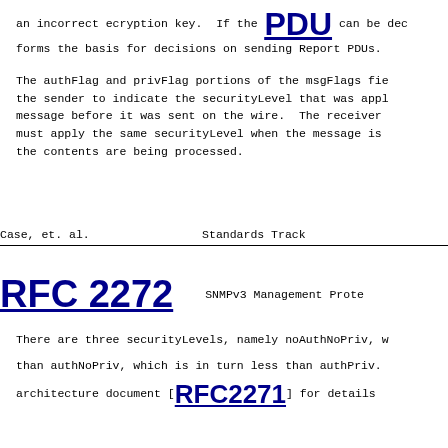an incorrect ecryption key.  If the PDU can be dec forms the basis for decisions on sending Report PDUs.
The authFlag and privFlag portions of the msgFlags fie the sender to indicate the securityLevel that was appl message before it was sent on the wire.  The receiver must apply the same securityLevel when the message is the contents are being processed.
Case, et. al.              Standards Track
RFC 2272                SNMPv3 Management Prote
There are three securityLevels, namely noAuthNoPriv, w
than authNoPriv, which is in turn less than authPriv.
architecture document [RFC2271] for details